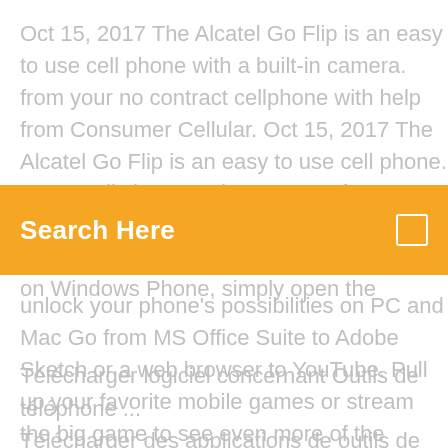Oct 15, 2017 The Alcatel Go Flip is an easy to use cell phone with a built-in camera. from your no contract cellphone with help from Consumer Cellular. Oct 15, 2017 The Alcatel Go Flip is an easy to use cell phone. Here we'll show you how to transfer your contacts from your old cellphone to your new Alcatel  Apr 25, 2013 To install an app on Windows Phone, simply open the
[Figure (other): Orange search bar overlay with text 'Search Here' and a small square icon on the right]
unlock your phone's possibilities on PC and Mac Go from MS Office Suite to Adobe Sketch or a web browser to YouTube. Pull up your favorite mobile games or stream the big game to see even more of the
Télécharger logiciel concernant Outils de téléphone ... Télécharger des applications de outils de téléphone portable pour windows comme kingroot pc, itools, sony pc companion (English) Comment faire pour télécharger des vidéos d ...